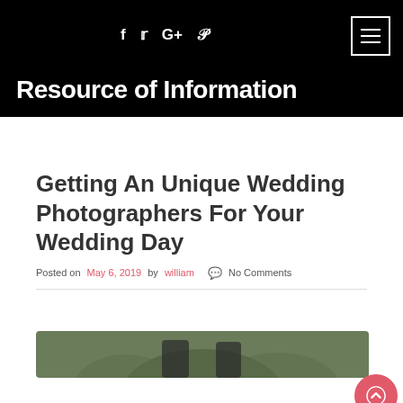Resource of Information
Getting An Unique Wedding Photographers For Your Wedding Day
Posted on May 6, 2019 by william  No Comments
[Figure (photo): Bottom portion of a wedding photo showing two people outdoors in a green setting]